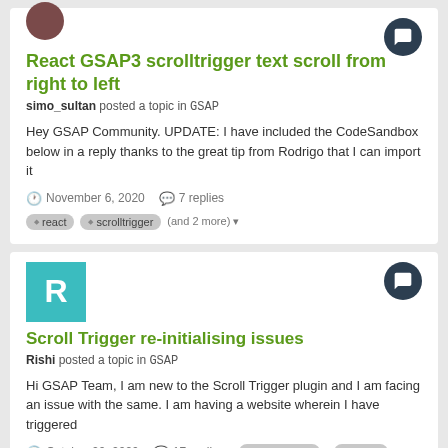React GSAP3 scrolltrigger text scroll from right to left
simo_sultan posted a topic in GSAP
Hey GSAP Community. UPDATE: I have included the CodeSandbox below in a reply thanks to the great tip from Rodrigo that I can import it
November 6, 2020   7 replies
react   scrolltrigger   (and 2 more)
Scroll Trigger re-initialising issues
Rishi posted a topic in GSAP
Hi GSAP Team, I am new to the Scroll Trigger plugin and I am facing an issue with the same. I am having a website wherein I have triggered
October 20, 2020   17 replies   scrolltrigger   gsap3